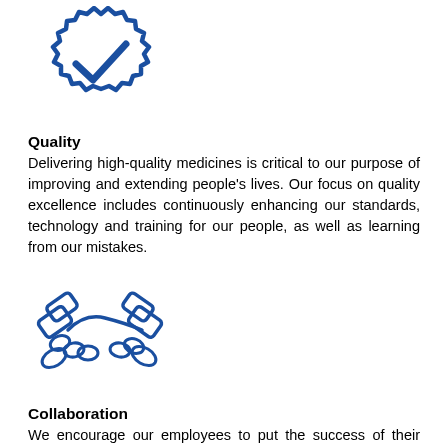[Figure (illustration): Blue outline icon of a badge/seal with a checkmark inside, representing quality]
Quality
Delivering high-quality medicines is critical to our purpose of improving and extending people's lives. Our focus on quality excellence includes continuously enhancing our standards, technology and training for our people, as well as learning from our mistakes.
[Figure (illustration): Blue outline icon of two hands shaking/handshake, representing collaboration]
Collaboration
We encourage our employees to put the success of their team first and to value each other's contributions and feedback. We also encourage our partners to share...